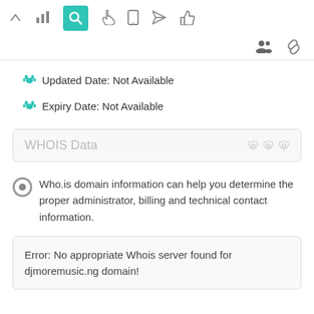[Figure (screenshot): Top toolbar with navigation icons: up arrow, bar chart, magnifying glass (active/teal), hand pointer, mobile device, send/paper plane, thumbs up, and a second row with group/people icon and chain link icon]
Updated Date: Not Available
Expiry Date: Not Available
WHOIS Data
Who.is domain information can help you determine the proper administrator, billing and technical contact information.
Error: No appropriate Whois server found for djmoremusic.ng domain!